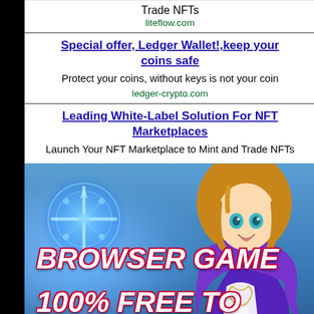Trade NFTs
liteflow.com
Special offer, Ledger Wallet!,keep your coins safe
Protect your coins, without keys is not your coin
ledger-crypto.com
Leading White-Label Solution For NFT Marketplaces
Launch Your NFT Marketplace to Mint and Trade NFTs
[Figure (illustration): Browser game advertisement with anime character in purple outfit, magic circle on left, text 'BROWSER GAME 100% FREE TO PLAY' and orange 'Play Free' button]